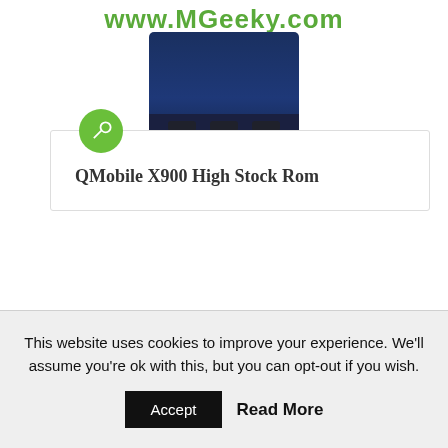www.MGeeky.com
[Figure (screenshot): Partial screenshot of a mobile phone screen]
QMobile X900 High Stock Rom
[Figure (photo): Gionee brand logo on red background alongside a hand holding a thin gold smartphone from the side]
This website uses cookies to improve your experience. We'll assume you're ok with this, but you can opt-out if you wish.
Accept  Read More